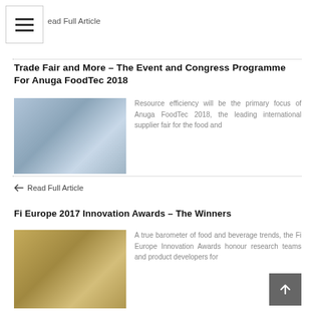Read Full Article
Trade Fair and More – The Event and Congress Programme For Anuga FoodTec 2018
[Figure (photo): Exhibition hall photo from Anuga FoodTec trade fair showing visitors and booths]
Resource efficiency will be the primary focus of Anuga FoodTec 2018, the leading international supplier fair for the food and
Read Full Article
Fi Europe 2017 Innovation Awards – The Winners
[Figure (photo): Group photo of award winners at Fi Europe 2017 Innovation Awards ceremony]
A true barometer of food and beverage trends, the Fi Europe Innovation Awards honour research teams and product developers for